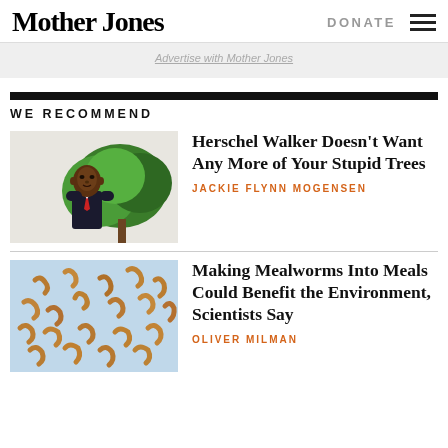Mother Jones | DONATE
Advertise with Mother Jones
WE RECOMMEND
[Figure (photo): Man in suit standing in front of a tree outdoors]
Herschel Walker Doesn’t Want Any More of Your Stupid Trees
JACKIE FLYNN MOGENSEN
[Figure (photo): Mealworms scattered on a light blue background]
Making Mealworms Into Meals Could Benefit the Environment, Scientists Say
OLIVER MILMAN